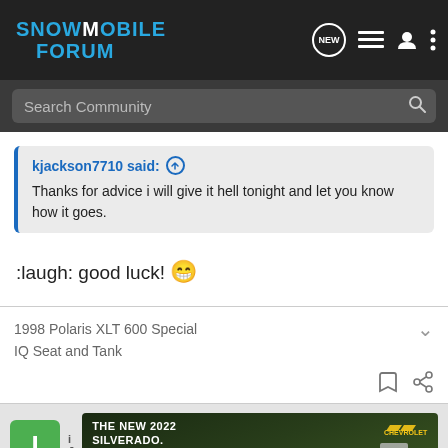Snowmobile Forum — navigation header with search bar
kjackson7710 said: ↑
Thanks for advice i will give it hell tonight and let you know how it goes.
:laugh: good luck! 😁
1998 Polaris XLT 600 Special
IQ Seat and Tank
[Figure (screenshot): Advertisement banner for The New 2022 Silverado by Chevrolet with an Explore button]